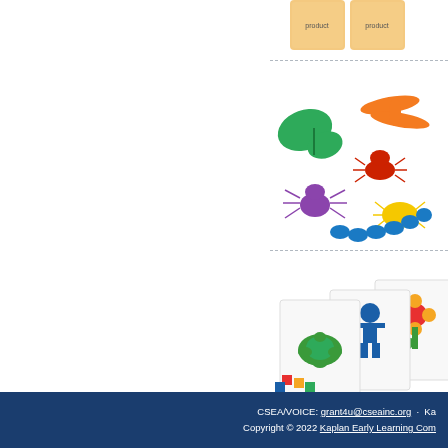[Figure (photo): Partial view of a product box at top of page, cropped]
[Figure (photo): Colorful plastic insect/bug counters including green butterfly, orange dragonfly, red ant, purple spider, yellow beetle, blue caterpillar]
Bug Co
3 years & up insects teac and recogni
[Figure (photo): Pattern blocks activity cards showing mosaic patterns of turtle, person, and flower made from colored blocks]
Pattern
3 years & up problem sol includes 20
CSEA/VOICE: grant4u@cseainc.org · Ka Copyright © 2022 Kaplan Early Learning Com